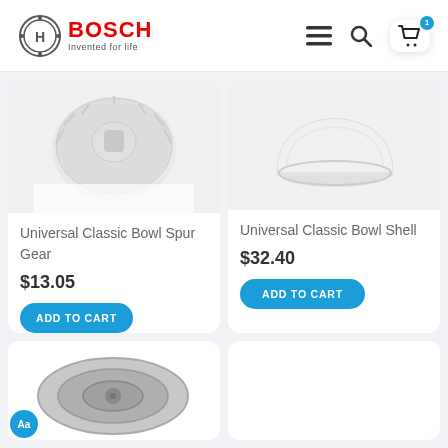BOSCH — Invented for life
[Figure (photo): Universal Classic Bowl Spur Gear product image - white plastic gear component]
Universal Classic Bowl Spur Gear
$13.05
ADD TO CART
[Figure (photo): Universal Classic Bowl Shell product image - white ceramic bowl]
Universal Classic Bowl Shell
$32.40
ADD TO CART
[Figure (photo): Bottom left product - stainless steel bowl accessory, partially visible]
[Figure (photo): Bottom right product - partially visible]